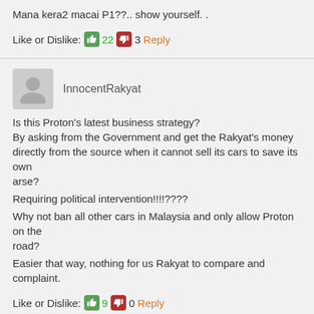Mana kera2 macai P1??.. show yourself. .
Like or Dislike: 👍 22 👎 3 Reply
InnocentRakyat
Is this Proton's latest business strategy?
By asking from the Government and get the Rakyat's money directly from the source when it cannot sell its cars to save its own arse?

Requiring political intervention!!!!????

Why not ban all other cars in Malaysia and only allow Proton on the road?

Easier that way, nothing for us Rakyat to compare and complaint.
Like or Dislike: 👍 9 👎 0 Reply